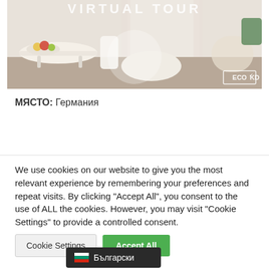[Figure (photo): Virtual Tour banner image showing a bright interior room with furniture, dining table, fruit bowl, and curtains. ECO-KD logo in bottom right corner. 'VIRTUAL TOUR' text overlay at top.]
МЯСТО: Германия
We use cookies on our website to give you the most relevant experience by remembering your preferences and repeat visits. By clicking "Accept All", you consent to the use of ALL the cookies. However, you may visit "Cookie Settings" to provide a controlled consent.
Cookie Settings   Accept All
Български